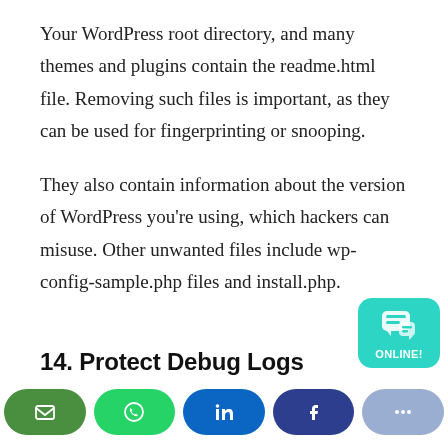Your WordPress root directory, and many themes and plugins contain the readme.html file. Removing such files is important, as they can be used for fingerprinting or snooping.
They also contain information about the version of WordPress you're using, which hackers can misuse. Other unwanted files include wp-config-sample.php files and install.php.
14. Protect Debug Logs
[Figure (infographic): Social share buttons bar at the bottom: email (dark green), WhatsApp (green), LinkedIn (blue), Facebook (dark blue), and a partially visible button. An ONLINE chat widget (teal) is on the bottom right.]